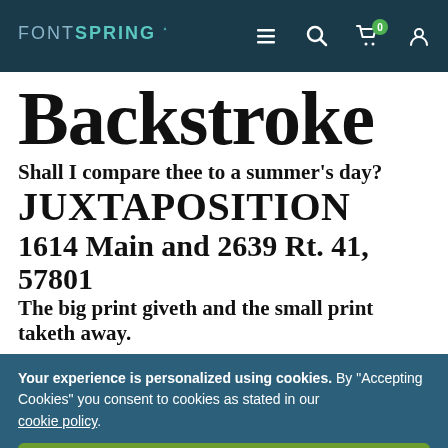FONTSPRING [navigation bar with menu, search, cart (0), user icons]
Backstroke
Shall I compare thee to a summer’s day?
JUXTAPOSITION
1614 Main and 2639 Rt. 41, 57801
The big print giveth and the small print taketh away.
Your experience is personalized using cookies. By “Accepting Cookies” you consent to cookies as stated in our cookie policy.
Accept Cookies